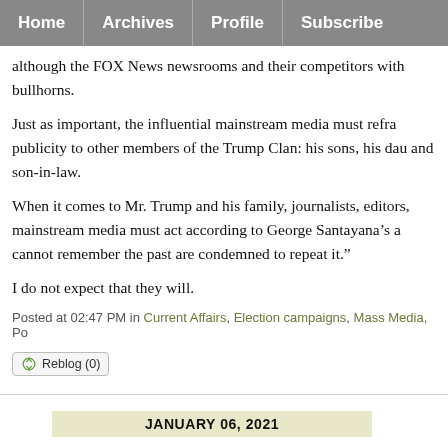Home | Archives | Profile | Subscribe
although the FOX News newsrooms and their competitors with bullhorns.
Just as important, the influential mainstream media must refra publicity to other members of the Trump Clan: his sons, his dau and son-in-law.
When it comes to Mr. Trump and his family, journalists, editors, mainstream media must act according to George Santayana’s a cannot remember the past are condemned to repeat it.”
I do not expect that they will.
Posted at 02:47 PM in Current Affairs, Election campaigns, Mass Media, Po
Reblog (0)
JANUARY 06, 2021
Trump and the Madman Theory: A Mad Theory